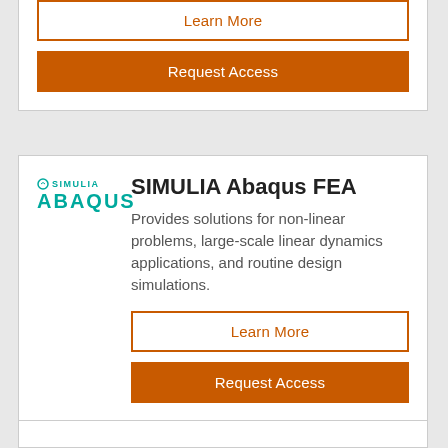[Figure (other): Partial top card with Learn More (outline button) and Request Access (solid orange button)]
[Figure (other): SIMULIA Abaqus FEA product card with logo, description, Learn More and Request Access buttons]
[Figure (other): Partial bottom card (cropped)]